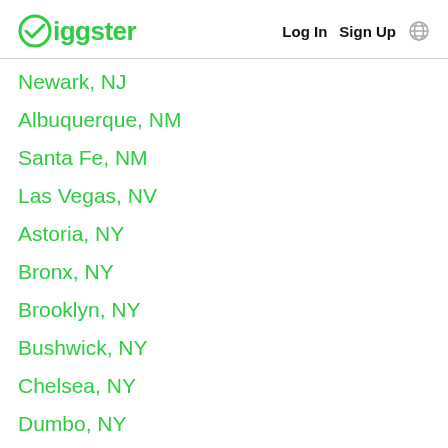Giggster — Log In  Sign Up
Newark, NJ
Albuquerque, NM
Santa Fe, NM
Las Vegas, NV
Astoria, NY
Bronx, NY
Brooklyn, NY
Bushwick, NY
Chelsea, NY
Dumbo, NY
East Hampton, NY
Greenpoint, NY